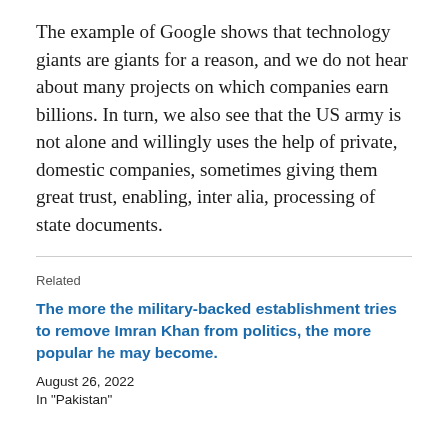The example of Google shows that technology giants are giants for a reason, and we do not hear about many projects on which companies earn billions. In turn, we also see that the US army is not alone and willingly uses the help of private, domestic companies, sometimes giving them great trust, enabling, inter alia, processing of state documents.
Related
The more the military-backed establishment tries to remove Imran Khan from politics, the more popular he may become.
August 26, 2022
In "Pakistan"